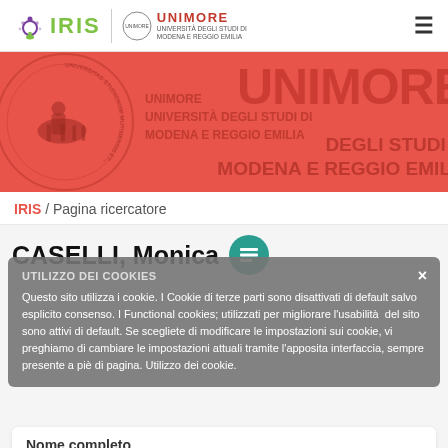IRIS | UNIMORE - Università degli studi di Modena e Reggio Emilia
[Figure (illustration): Red banner with UNIMORE university logo watermark, circular seal, knight on horseback, and large text UNIMORE / UNIVERSITÀ DEGLI STUDI DI MODENA E REGGIO EMILIA]
IRIS / Pagina ricercatore
CASELLI, Monica
UTILIZZO DEI COOKIES
Questo sito utilizza i cookie. I Cookie di terze parti sono disattivati di default salvo esplicito consenso. I Functional cookies; utilizzati per migliorare l'usabilità del sito sono attivi di default. Se scegliete di modificare le impostazioni sui cookie, vi preghiamo di cambiare le impostazioni attuali tramite l'apposita interfaccia, sempre presente a piè di pagina. Utilizzo dei cookie.
Nome completo
CASELLI, Monica
Afferenza